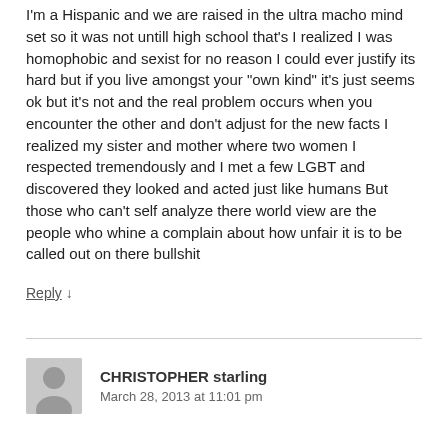I'm a Hispanic and we are raised in the ultra macho mind set so it was not untill high school that's I realized I was homophobic and sexist for no reason I could ever justify its hard but if you live amongst your "own kind" it's just seems ok but it's not and the real problem occurs when you encounter the other and don't adjust for the new facts I realized my sister and mother where two women I respected tremendously and I met a few LGBT and discovered they looked and acted just like humans But those who can't self analyze there world view are the people who whine a complain about how unfair it is to be called out on there bullshit
Reply ↓
CHRISTOPHER starling
March 28, 2013 at 11:01 pm